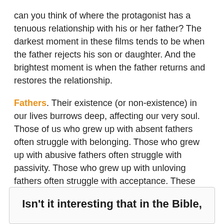can you think of where the protagonist has a tenuous relationship with his or her father? The darkest moment in these films tends to be when the father rejects his son or daughter. And the brightest moment is when the father returns and restores the relationship.
Fathers. Their existence (or non-existence) in our lives burrows deep, affecting our very soul. Those of us who grew up with absent fathers often struggle with belonging. Those who grew up with abusive fathers often struggle with passivity. Those who grew up with unloving fathers often struggle with acceptance. These are all overly-simplistic generalizations, but fathers matter. We can all attest to the truth of this statement, based on our own personal experience. A father is critically relevant to a child.
Isn't it interesting that in the Bible,